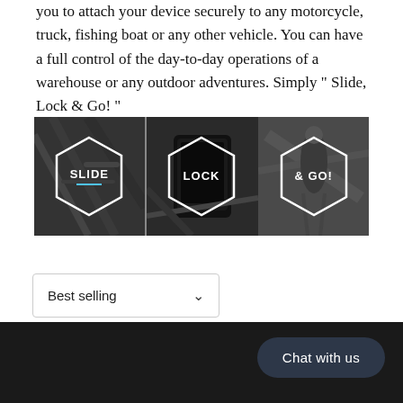you to attach your device securely to any motorcycle, truck, fishing boat or any other vehicle. You can have a full control of the day-to-day operations of a warehouse or any outdoor adventures. Simply “ Slide, Lock & Go! ”
[Figure (photo): Three-panel image banner showing steps: SLIDE (person attaching device to handlebar), LOCK (phone mounted on bicycle handlebar), & GO! (person riding bicycle). Each panel has a white hexagon outline with bold white text label.]
Best selling
Chat with us